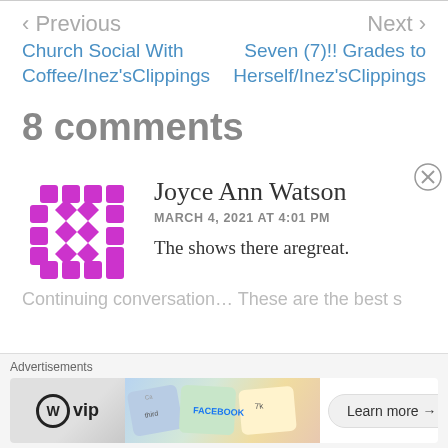< Previous | Next >
Church Social With Coffee/Inez'sClippings
Seven (7)!! Grades to Herself/Inez'sClippings
8 comments
[Figure (illustration): Purple/magenta decorative avatar icon with geometric diamond and square pattern]
Joyce Ann Watson
MARCH 4, 2021 AT 4:01 PM
The shows there aregreat.
Advertisements
[Figure (other): Advertisement banner with WordPress VIP logo and Learn more button]